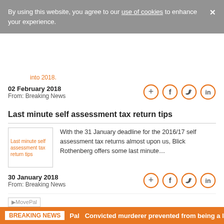By using this website, you agree to our use of cookies to enhance your experience.
into 2018.
02 February 2018
From: Breaking News
Last minute self assessment tax return tips
[Figure (photo): Thumbnail image for article: Last minute self assessment tax return tips]
With the 31 January deadline for the 2016/17 self assessment tax returns almost upon us, Blick Rothenberg offers some last minute…
30 January 2018
From: Breaking News
[Figure (logo): MovePal logo]
Mortgage tax relief cut doesn't add up for BTL landlords
BREAKING NEWS  Pal  Convicted murderer prevented from being a la